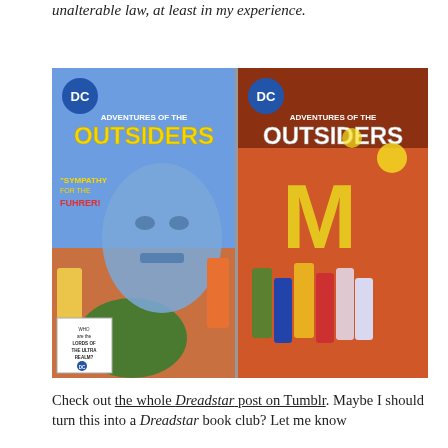unalterable law, at least in my experience.
[Figure (photo): Two DC comic book covers of 'Adventures of the Outsiders'. Left cover features a large blue face with the text 'Sympathy for the Fuhrer!' and heroes in action. Right cover shows heroes grouped together with a large yellow M emblem on an orange background.]
Check out the whole Dreadstar post on Tumblr. Maybe I should turn this into a Dreadstar book club? Let me know